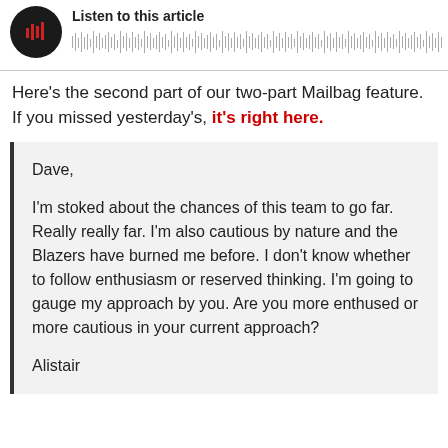[Figure (other): Audio player widget with black circular play button with red sound bars icon, title 'Listen to this article', and a waveform/progress bar below]
Here's the second part of our two-part Mailbag feature. If you missed yesterday's, it's right here.
Dave,

I'm stoked about the chances of this team to go far. Really really far. I'm also cautious by nature and the Blazers have burned me before. I don't know whether to follow enthusiasm or reserved thinking. I'm going to gauge my approach by you. Are you more enthused or more cautious in your current approach?

Alistair